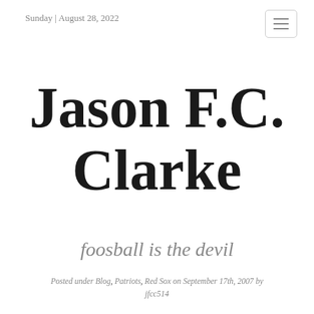Sunday | August 28, 2022
Jason F.C. Clarke
foosball is the devil
Posted under Blog, Patriots, Red Sox on September 17th, 2007 by jfcc514